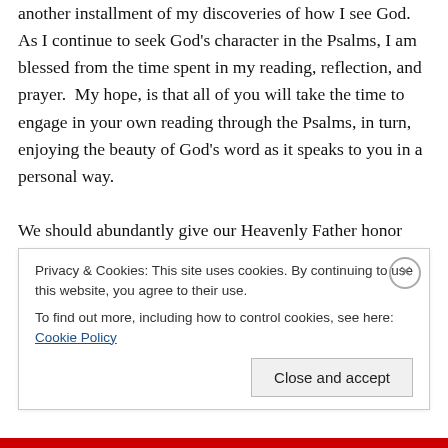another installment of my discoveries of how I see God. As I continue to seek God's character in the Psalms, I am blessed from the time spent in my reading, reflection, and prayer.  My hope, is that all of you will take the time to engage in your own reading through the Psalms, in turn, enjoying the beauty of God's word as it speaks to you in a personal way.

We should abundantly give our Heavenly Father honor and reverence for His splendor in creation, as His reputation stands tall; He truly should receive all glory for His greatness.  As our eyes marvel upon the sky, we note
Privacy & Cookies: This site uses cookies. By continuing to use this website, you agree to their use.
To find out more, including how to control cookies, see here: Cookie Policy
Close and accept